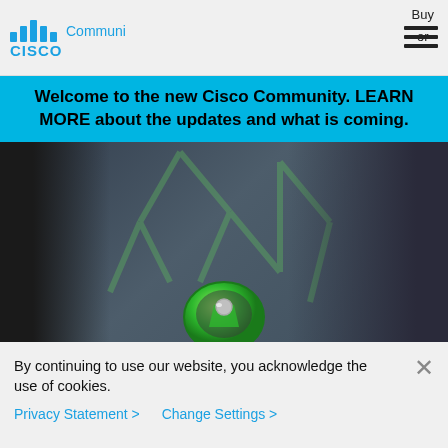Buy
or
[Figure (logo): Cisco Community logo with text 'Community' and hamburger menu icon]
Welcome to the new Cisco Community. LEARN MORE about the updates and what is coming.
[Figure (photo): Hero image showing two people (a woman on the left and a man on the right) with a green security badge icon at the bottom center, overlaid with a dark tinted background and green network pattern]
By continuing to use our website, you acknowledge the use of cookies.
Privacy Statement >   Change Settings >